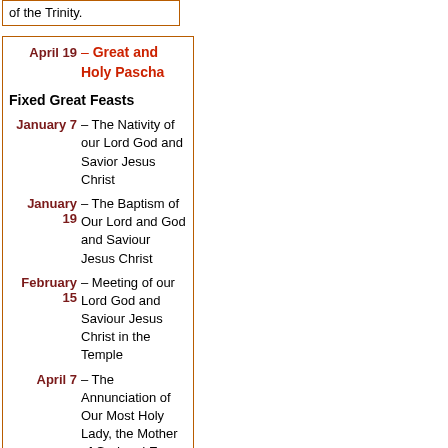of the Trinity.
| April 19 | – Great and Holy Pascha |
| Fixed Great Feasts |  |
| January 7 | – The Nativity of our Lord God and Savior Jesus Christ |
| January 19 | – The Baptism of Our Lord and God and Saviour Jesus Christ |
| February 15 | – Meeting of our Lord God and Saviour Jesus Christ in the Temple |
| April 7 | – The Annunciation of Our Most Holy Lady, the Mother of God and Ever-Virgin Mar |
|  | – The Holy... |